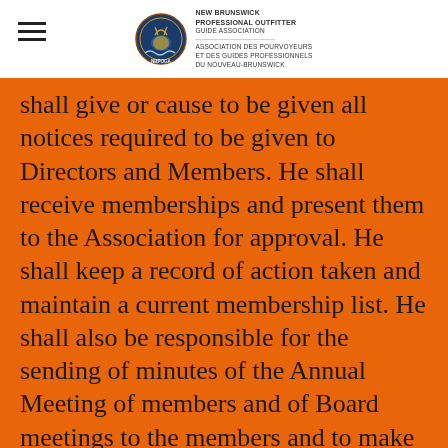New Brunswick Professional Outfitter Guide Association / Association des Pourvoyeurs et des Guides Professionnels du Nouveau-Brunswick
shall give or cause to be given all notices required to be given to Directors and Members. He shall receive memberships and present them to the Association for approval. He shall keep a record of action taken and maintain a current membership list. He shall also be responsible for the sending of minutes of the Annual Meeting of members and of Board meetings to the members and to make copies of the Constitution and By-Laws available to members at their request and at the Annual Meeting of members. He shall also perform such other duties as may, from time to time, be prescribed by the Board. The Secretary shall be the custodian of the corporate seal of the Association together with all books, papers, records, documents and other instruments belonging to the Association, except only financial records. 6.08 TREASURER – The Treasurer shall keep full and